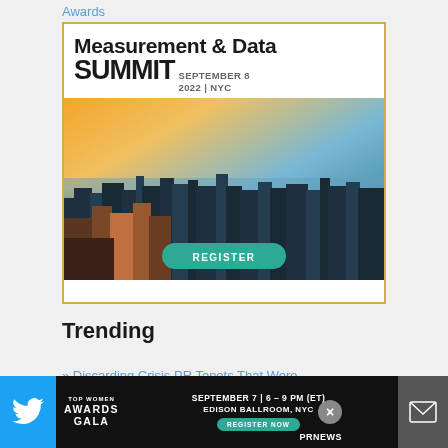Awards
[Figure (illustration): Advertisement banner for Measurement & Data Summit, September 8 2022, NYC, with cityscape photo and REGISTER button]
Trending
» Discarding Crisis PR Tenets That Were
[Figure (illustration): Bottom banner ad: Top Women Awards Gala, September 7 6-9 PM ET, Edison Ballroom NYC, Register Now, with Twitter and mail icons and PRNews branding]